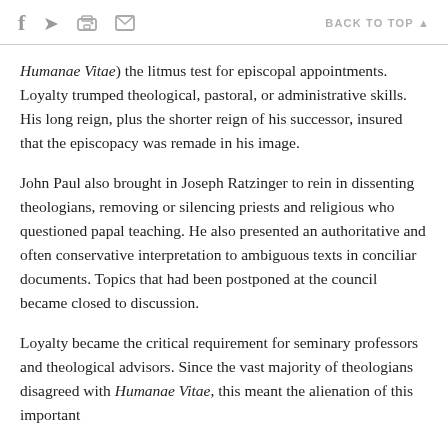f  [twitter]  [print]  [mail]    BACK TO TOP ▲
Humanae Vitae) the litmus test for episcopal appointments. Loyalty trumped theological, pastoral, or administrative skills. His long reign, plus the shorter reign of his successor, insured that the episcopacy was remade in his image.
John Paul also brought in Joseph Ratzinger to rein in dissenting theologians, removing or silencing priests and religious who questioned papal teaching. He also presented an authoritative and often conservative interpretation to ambiguous texts in conciliar documents. Topics that had been postponed at the council became closed to discussion.
Loyalty became the critical requirement for seminary professors and theological advisors. Since the vast majority of theologians disagreed with Humanae Vitae, this meant the alienation of this important